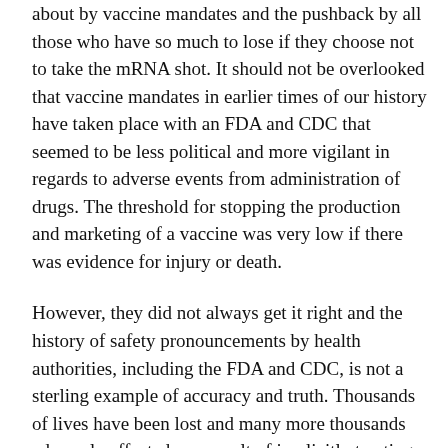about by vaccine mandates and the pushback by all those who have so much to lose if they choose not to take the mRNA shot. It should not be overlooked that vaccine mandates in earlier times of our history have taken place with an FDA and CDC that seemed to be less political and more vigilant in regards to adverse events from administration of drugs. The threshold for stopping the production and marketing of a vaccine was very low if there was evidence for injury or death.
However, they did not always get it right and the history of safety pronouncements by health authorities, including the FDA and CDC, is not a sterling example of accuracy and truth. Thousands of lives have been lost and many more thousands adversely affected as a result of implicitly trusting the so-called health experts. Think of all the chemicals and substances that have been pronounced safe during the past 100 years: lead pipes, lead in paint,